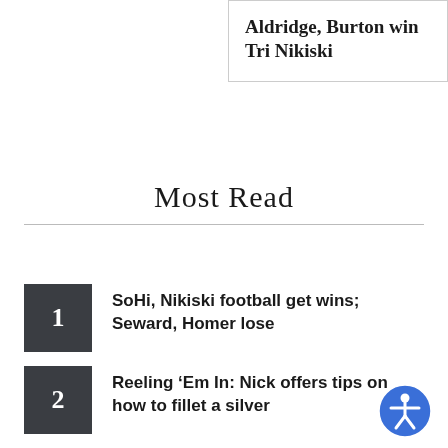Aldridge, Burton win Tri Nikiski
Most Read
1. SoHi, Nikiski football get wins; Seward, Homer lose
2. Reeling ‘Em In: Nick offers tips on how to fillet a silver
3. McKenney Invite welcomes over 25 schools
4. North Pole football topples Kenai